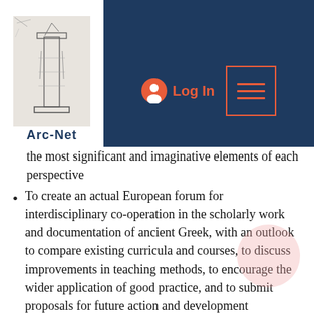Arc-Net — Log In navigation header with menu button
the most significant and imaginative elements of each perspective
To create an actual European forum for interdisciplinary co-operation in the scholarly work and documentation of ancient Greek, with an outlook to compare existing curricula and courses, to discuss improvements in teaching methods, to encourage the wider application of good practice, and to submit proposals for future action and development
To relate theory to practice in the study of Ancient Greek Drama, and to strengthen the bond between traditional teaching methods and interactive audio-visual technology
To provide opportunities for multicultural encounters between